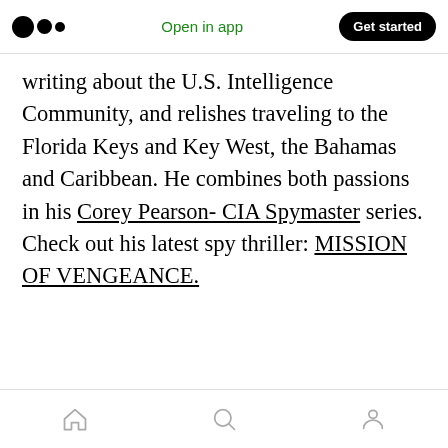Medium logo | Open in app | Get started
writing about the U.S. Intelligence Community, and relishes traveling to the Florida Keys and Key West, the Bahamas and Caribbean. He combines both passions in his Corey Pearson- CIA Spymaster series. Check out his latest spy thriller: MISSION OF VENGEANCE.
[Figure (screenshot): Medium app UI action icons: clap, comment on left; share, bookmark-add on right]
[Figure (screenshot): Floating pill bubble with clap and comment icons]
Bottom navigation bar with home, search, and profile icons